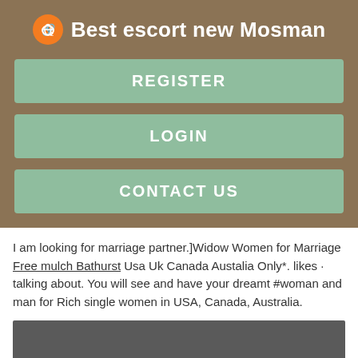Best escort new Mosman
REGISTER
LOGIN
CONTACT US
I am looking for marriage partner.]Widow Women for Marriage Free mulch Bathurst Usa Uk Canada Austalia Only*. likes · talking about. You will see and have your dreamt #woman and man for Rich single women in USA, Canada, Australia.
[Figure (photo): Dark grey image placeholder at the bottom of the page]